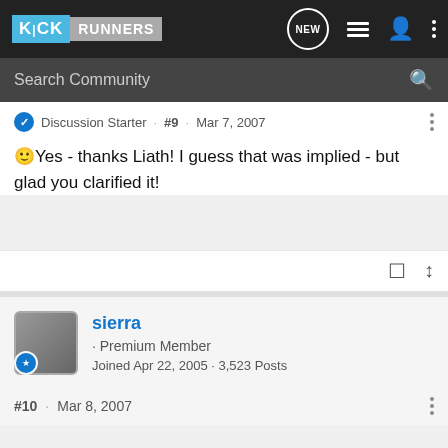KICK RUNNERS
Search Community
Discussion Starter · #9 · Mar 7, 2007
Yes - thanks Liath! I guess that was implied - but glad you clarified it!
sierra · Premium Member
Joined Apr 22, 2005 · 3,523 Posts
#10 · Mar 8, 2007